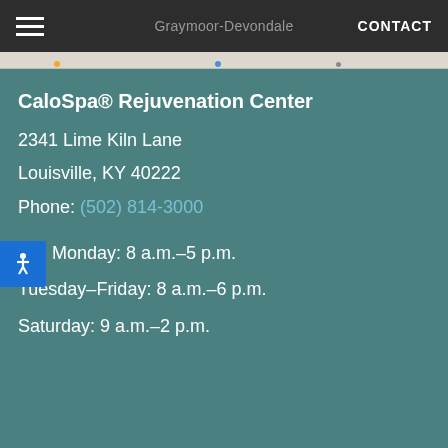Graymoor-Devondale   CONTACT
CaloSpa® Rejuvenation Center
2341 Lime Kiln Lane
Louisville, KY 40222
Phone: (502) 814-3000
Monday: 8 a.m.–5 p.m.
Tuesday–Friday: 8 a.m.–6 p.m.
Saturday: 9 a.m.–2 p.m.